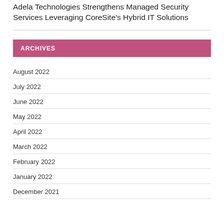Adela Technologies Strengthens Managed Security Services Leveraging CoreSite's Hybrid IT Solutions
ARCHIVES
August 2022
July 2022
June 2022
May 2022
April 2022
March 2022
February 2022
January 2022
December 2021